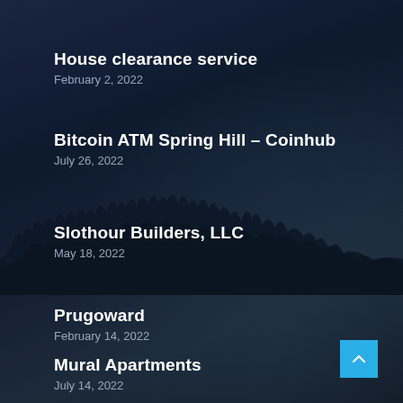House clearance service
February 2, 2022
Bitcoin ATM Spring Hill – Coinhub
July 26, 2022
Slothour Builders, LLC
May 18, 2022
Prugoward
February 14, 2022
Mural Apartments
July 14, 2022